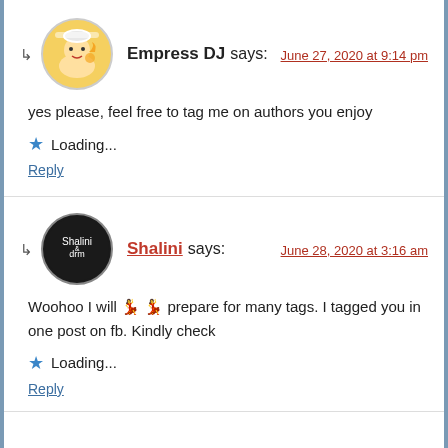Empress DJ says: June 27, 2020 at 9:14 pm
yes please, feel free to tag me on authors you enjoy
Loading...
Reply
Shalini says: June 28, 2020 at 3:16 am
Woohoo I will 💃💃 prepare for many tags. I tagged you in one post on fb. Kindly check
Loading...
Reply